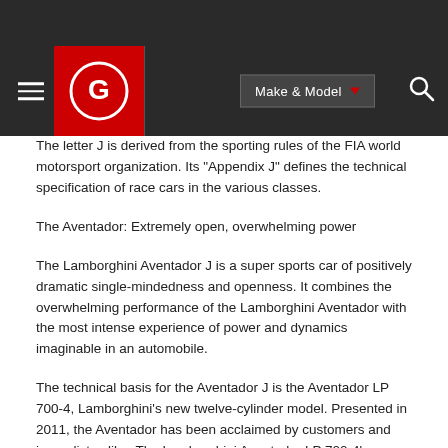[Figure (logo): Website header/navigation bar with hamburger menu, red circular logo with 'G' letter mark, 'Make & Model' dropdown button, and search icon on dark background]
The letter J is derived from the sporting rules of the FIA world motorsport organization. Its "Appendix J" defines the technical specification of race cars in the various classes.
The Aventador: Extremely open, overwhelming power
The Lamborghini Aventador J is a super sports car of positively dramatic single-mindedness and openness. It combines the overwhelming performance of the Lamborghini Aventador with the most intense experience of power and dynamics imaginable in an automobile.
The technical basis for the Aventador J is the Aventador LP 700-4, Lamborghini's new twelve-cylinder model. Presented in 2011, the Aventador has been acclaimed by customers and journalists alike. The Lamborghini Aventador LP 700-4's technology package is unique – its structure is based on an innovative monocoque made from carbon fiber reinforced polymers